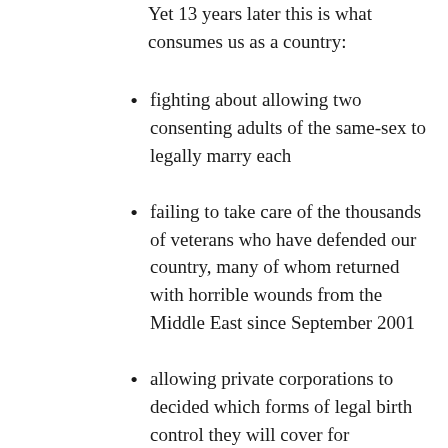Yet 13 years later this is what consumes us as a country:
fighting about allowing two consenting adults of the same-sex to legally marry each
failing to take care of the thousands of veterans who have defended our country, many of whom returned with horrible wounds from the Middle East since September 2001
allowing private corporations to decided which forms of legal birth control they will cover for employees they choose to provide health...